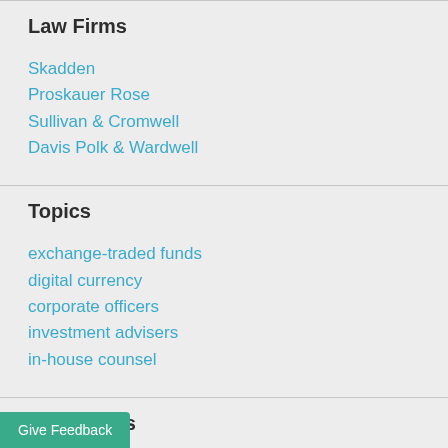Law Firms
Skadden
Proskauer Rose
Sullivan & Cromwell
Davis Polk & Wardwell
Topics
exchange-traded funds
digital currency
corporate officers
investment advisers
in-house counsel
Companies
Give Feedback